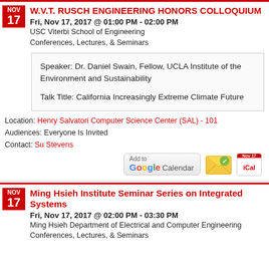W.V.T. RUSCH ENGINEERING HONORS COLLOQUIUM
Fri, Nov 17, 2017 @ 01:00 PM - 02:00 PM
USC Viterbi School of Engineering
Conferences, Lectures, & Seminars
Speaker: Dr. Daniel Swain, Fellow, UCLA Institute of the Environment and Sustainability

Talk Title: California Increasingly Extreme Climate Future
Location: Henry Salvatori Computer Science Center (SAL) - 101
Audiences: Everyone Is Invited
Contact: Su Stevens
[Figure (other): Add to Google Calendar button and calendar icons (envelope icon, iCal icon)]
Ming Hsieh Institute Seminar Series on Integrated Systems
Fri, Nov 17, 2017 @ 02:00 PM - 03:30 PM
Ming Hsieh Department of Electrical and Computer Engineering
Conferences, Lectures, & Seminars